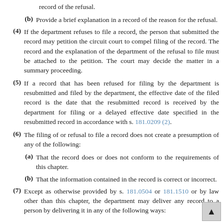record of the refusal.
(b) Provide a brief explanation in a record of the reason for the refusal.
(4) If the department refuses to file a record, the person that submitted the record may petition the circuit court to compel filing of the record. The record and the explanation of the department of the refusal to file must be attached to the petition. The court may decide the matter in a summary proceeding.
(5) If a record that has been refused for filing by the department is resubmitted and filed by the department, the effective date of the filed record is the date that the resubmitted record is received by the department for filing or a delayed effective date specified in the resubmitted record in accordance with s. 181.0209 (2).
(6) The filing of or refusal to file a record does not create a presumption of any of the following:
(a) That the record does or does not conform to the requirements of this chapter.
(b) That the information contained in the record is correct or incorrect.
(7) Except as otherwise provided by s. 181.0504 or 181.1510 or by law other than this chapter, the department may deliver any record to a person by delivering it in any of the following ways: